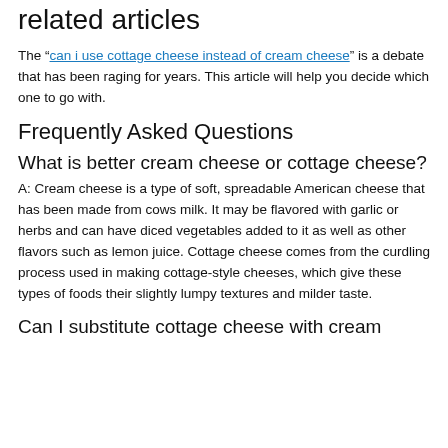related articles
The “can i use cottage cheese instead of cream cheese” is a debate that has been raging for years. This article will help you decide which one to go with.
Frequently Asked Questions
What is better cream cheese or cottage cheese?
A: Cream cheese is a type of soft, spreadable American cheese that has been made from cows milk. It may be flavored with garlic or herbs and can have diced vegetables added to it as well as other flavors such as lemon juice. Cottage cheese comes from the curdling process used in making cottage-style cheeses, which give these types of foods their slightly lumpy textures and milder taste.
Can I substitute cottage cheese with cream